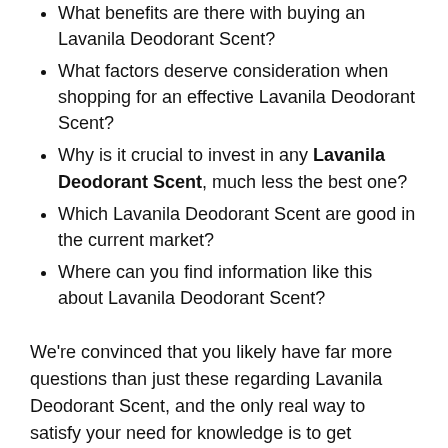What benefits are there with buying an Lavanila Deodorant Scent?
What factors deserve consideration when shopping for an effective Lavanila Deodorant Scent?
Why is it crucial to invest in any Lavanila Deodorant Scent, much less the best one?
Which Lavanila Deodorant Scent are good in the current market?
Where can you find information like this about Lavanila Deodorant Scent?
We're convinced that you likely have far more questions than just these regarding Lavanila Deodorant Scent, and the only real way to satisfy your need for knowledge is to get information from as many reputable online sources as you possibly can.
Potential sources can include buying guides for Lavanila Deodorant Scent, rating websites, word-of-mouth testimonials, online forums, and product reviews.